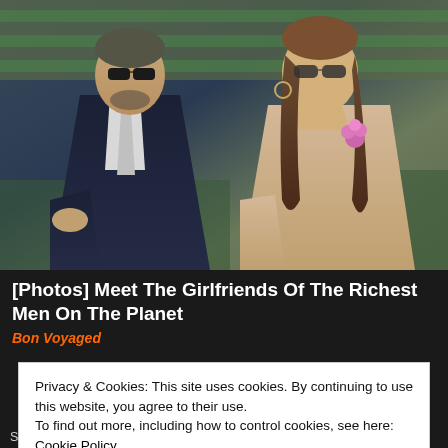[Figure (photo): Two people sitting in what appears to be stadium seating. On the left is an older man in a dark navy suit with a silver tie wearing sunglasses. On the right is a younger woman with long brown hair wearing sunglasses and a beige/nude lace outfit with a pink flower accessory.]
[Photos] Meet The Girlfriends Of The Richest Men On The Planet
Bon Voyaged
Privacy & Cookies: This site uses cookies. By continuing to use this website, you agree to their use.
To find out more, including how to control cookies, see here:
Cookie Policy
Close and accept
Sunnyland Slim, Survivor Blues, Teddy Zig Zag, Walter